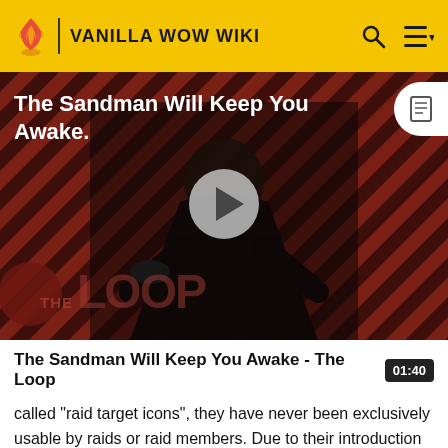VANILLA WOW WIKI
[Figure (screenshot): Video thumbnail for 'The Sandman Will Keep You Awake - The Loop' showing a dark figure in a black cape against a diagonal red and black striped background, with THE LOOP watermark, a play button in the center, and a document icon in the top right corner.]
The Sandman Will Keep You Awake - The Loop  01:40
called "raid target icons", they have never been exclusively usable by raids or raid members. Due to their introduction with the original Naxxramas raid, they were